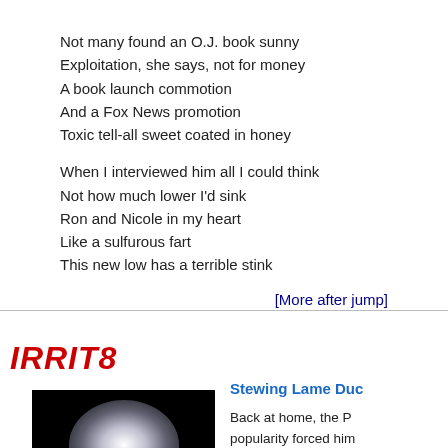Not many found an O.J. book sunny
Exploitation, she says, not for money
A book launch commotion
And a Fox News promotion
Toxic tell-all sweet coated in honey
When I interviewed him all I could think
Not how much lower I'd sink
Ron and Nicole in my heart
Like a sulfurous fart
This new low has a terrible stink
[More after jump]
IRRIT8
Stewing Lame Duc
Back at home, the P... popularity forced him... friends to help him g... quagmire. The over-... recent elections, des... unheeded by the adr...
[Figure (photo): Dark image with white glow/light and purple orb shape at center]